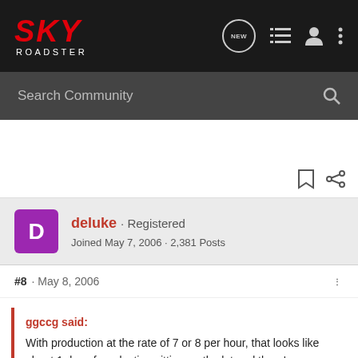SKY ROADSTER - navigation bar with Search Community
deluke · Registered
Joined May 7, 2006 · 2,381 Posts
#8 · May 8, 2006
ggccg said:
With production at the rate of 7 or 8 per hour, that looks like about 1 day of production sitting on the lot and there's a transport truck being loaded up.